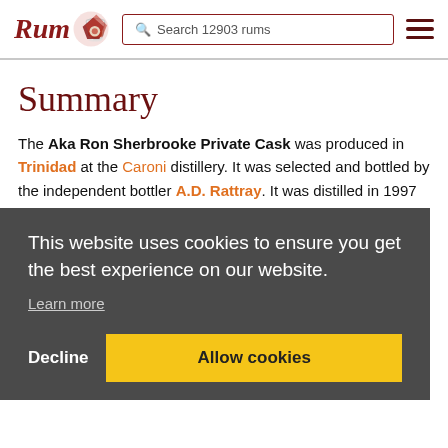Rum [logo] | Search 12903 rums | [menu]
Summary
The Aka Ron Sherbrooke Private Cask was produced in Trinidad at the Caroni distillery. It was selected and bottled by the independent bottler A.D. Rattray. It was distilled in 1997 from Molasses and then aged for 13 years. The rum has an ABV of 46%. This is a limited release and there are only 304 bottles.
This website uses cookies to ensure you get the best experience on our website.
Learn more
Shops
Sorry, no offers available at the moment.
→ Do you run an online store and want to be listed here? Contact